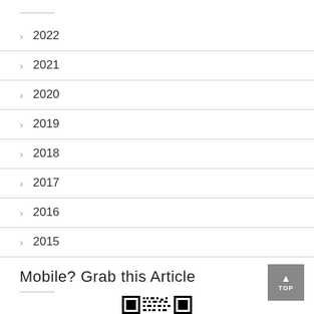2022
2021
2020
2019
2018
2017
2016
2015
Mobile? Grab this Article
[Figure (other): QR code for mobile article access]